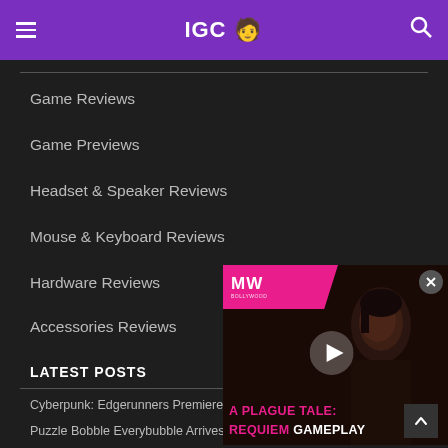IGC [emoji] navigation header
Game Reviews
Game Previews
Headset & Speaker Reviews
Mouse & Keyboard Reviews
Hardware Reviews
Accessories Reviews
LATEST POSTS
[Figure (screenshot): Video thumbnail for A Plague Tale Requiem Gameplay with MW logo overlay and play button]
Cyberpunk: Edgerunners Premiere Date & New Trailer
Puzzle Bobble Everybubble Arrives in 2023